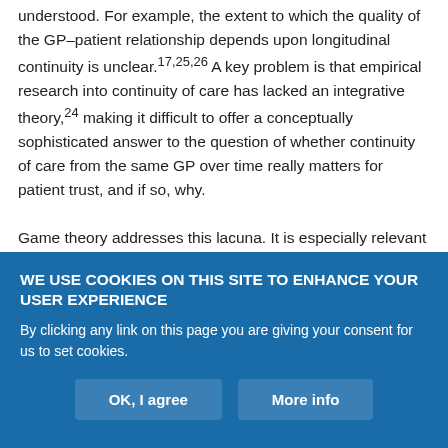understood. For example, the extent to which the quality of the GP–patient relationship depends upon longitudinal continuity is unclear.17,25,26 A key problem is that empirical research into continuity of care has lacked an integrative theory,24 making it difficult to offer a conceptually sophisticated answer to the question of whether continuity of care from the same GP over time really matters for patient trust, and if so, why.
Game theory addresses this lacuna. It is especially relevant to thinking about continuity because of the distinction it makes between the properties of single-episode interactions (or games) on the one hand and repeated interactions on the other. Experimental evidence
WE USE COOKIES ON THIS SITE TO ENHANCE YOUR USER EXPERIENCE
By clicking any link on this page you are giving your consent for us to set cookies.